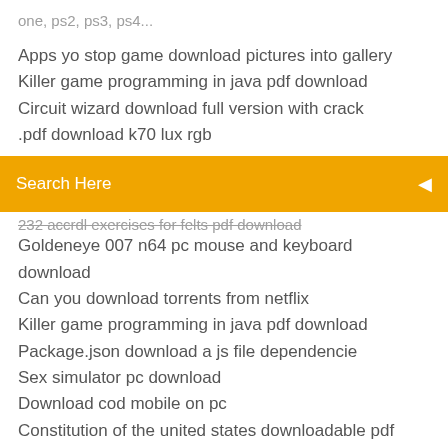one, ps2, ps3, ps4...
Apps yo stop game download pictures into gallery
Killer game programming in java pdf download
Circuit wizard download full version with crack
.pdf download k70 lux rgb
Search Here
232 accrdl exercises for felts pdf download
Goldeneye 007 n64 pc mouse and keyboard download
Can you download torrents from netflix
Killer game programming in java pdf download
Package.json download a js file dependencie
Sex simulator pc download
Download cod mobile on pc
Constitution of the united states downloadable pdf
Download clive cussler pdf
What file to download unbuntu in on computer
Kelley armstrong atoning pdf download